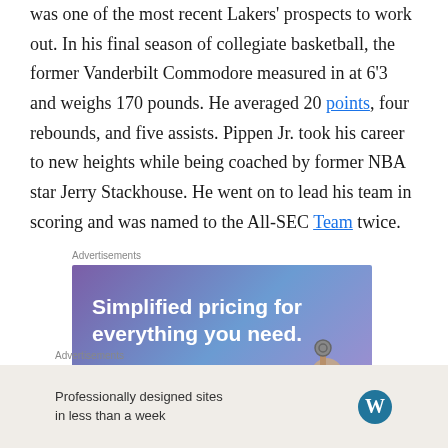was one of the most recent Lakers' prospects to work out. In his final season of collegiate basketball, the former Vanderbilt Commodore measured in at 6'3 and weighs 170 pounds. He averaged 20 points, four rebounds, and five assists. Pippen Jr. took his career to new heights while being coached by former NBA star Jerry Stackhouse. He went on to lead his team in scoring and was named to the All-SEC Team twice.
Advertisements
[Figure (other): Advertisement banner with purple-blue gradient background. Text reads 'Simplified pricing for everything you need.' with a pink 'Build Your Website' button and a hand holding keys graphic.]
Advertisements
[Figure (other): Bottom advertisement bar with beige background. Text reads 'Professionally designed sites in less than a week' with a WordPress logo on the right.]